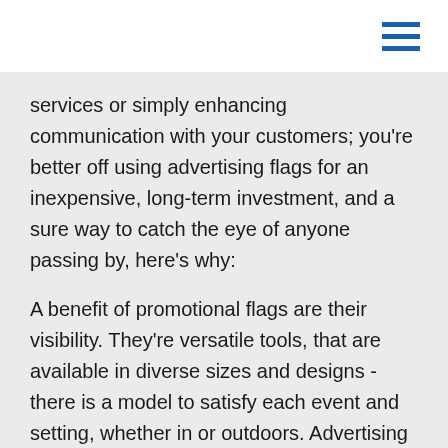[hamburger menu icon]
services or simply enhancing communication with your customers; you're better off using advertising flags for an inexpensive, long-term investment, and a sure way to catch the eye of anyone passing by, here's why:
A benefit of promotional flags are their visibility. They're versatile tools, that are available in diverse sizes and designs - there is a model to satisfy each event and setting, whether in or outdoors. Advertising flags are also portable and can even be tucked into a convenient carrying case, which will benefit your efficiency; keeping your campaign materials light wherever you go. A well-made flag will last some time, as their weather resistant